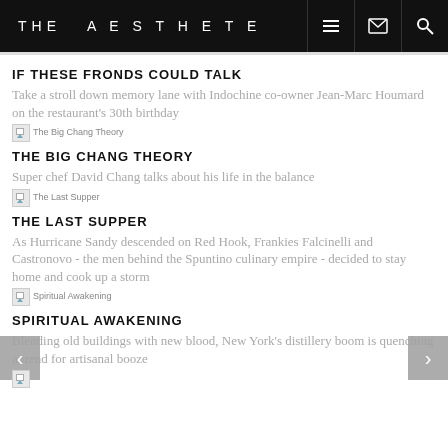THE AESTHETE
IF THESE FRONDS COULD TALK
Take a stroll down memory lane with Indochine co-owner Jean-Marc Houmard on the restaurant's 30th birthday
[Figure (photo): Thumbnail image placeholder labeled 'The Big Chang Theory']
THE BIG CHANG THEORY
Super chef David Chang talks about his life in the balance
[Figure (photo): Thumbnail image placeholder labeled 'The Last Supper']
THE LAST SUPPER
As Hurricane Sandy descended on Red Hook, Frankies Falcinelli and Castronovo - the men behind the Spuntino culinary empire - decided to stay home and cook up a storm
[Figure (photo): Thumbnail image placeholder labeled 'Spiritual Awakening']
SPIRITUAL AWAKENING
Blending old buildings with new blood, New York's distillery boom is quenching a trend for artisanal booze